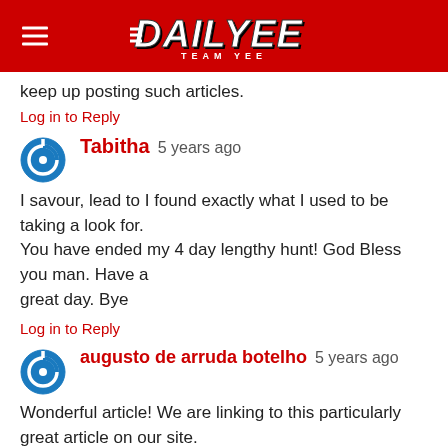DAILYEE TEAM YEE
keep up posting such articles.
Log in to Reply
Tabitha 5 years ago
I savour, lead to I found exactly what I used to be taking a look for.
You have ended my 4 day lengthy hunt! God Bless you man. Have a
great day. Bye
Log in to Reply
augusto de arruda botelho 5 years ago
Wonderful article! We are linking to this particularly great article on our site.
Keep up the good writing.